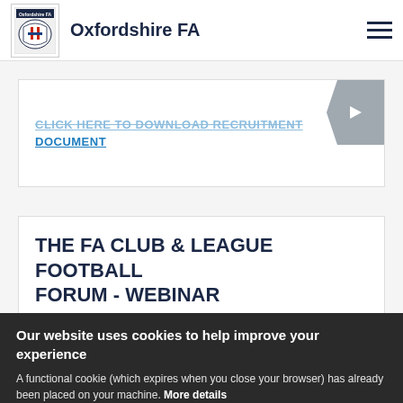Oxfordshire FA
CLICK HERE TO DOWNLOAD RECRUITMENT DOCUMENT
THE FA CLUB & LEAGUE FOOTBALL FORUM - WEBINAR
Our website uses cookies to help improve your experience
A functional cookie (which expires when you close your browser) has already been placed on your machine. More details
ACCEPT COOKIES